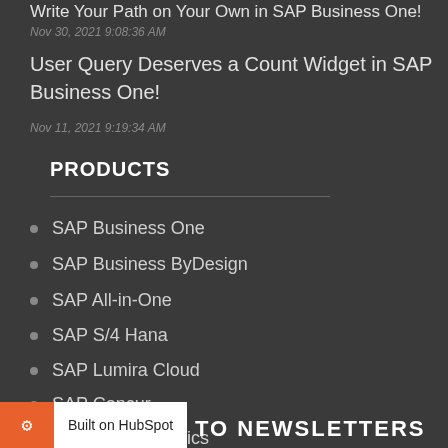Write Your Path on Your Own in SAP Business One!
Nov 30, 2021 9:08:36 AM
User Query Deserves a Count Widget in SAP Business One!
Nov 11, 2021 9:19:34 AM
PRODUCTS
SAP Business One
SAP Business ByDesign
SAP All-in-One
SAP S/4 Hana
SAP Lumira Cloud
SAP Concur
Microsoft Dynamics
Built on HubSpot
TO NEWSLETTERS